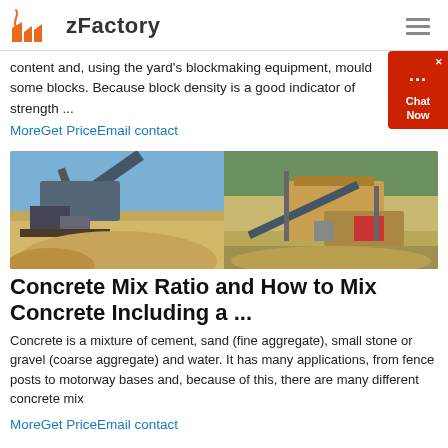zFactory
content and, using the yard's blockmaking equipment, mould some blocks. Because block density is a good indicator of strength ...
MoreGet PriceEmail contact
[Figure (photo): Two photos of construction/quarry equipment: left shows a machinery processing sand/gravel on site, right shows industrial crushing/conveying equipment at a quarry.]
Concrete Mix Ratio and How to Mix Concrete Including a ...
Concrete is a mixture of cement, sand (fine aggregate), small stone or gravel (coarse aggregate) and water. It has many applications, from fence posts to motorway bases and, because of this, there are many different concrete mix
MoreGet PriceEmail contact